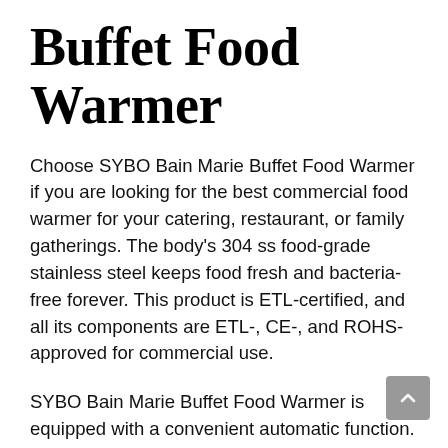Buffet Food Warmer
Choose SYBO Bain Marie Buffet Food Warmer if you are looking for the best commercial food warmer for your catering, restaurant, or family gatherings. The body’s 304 ss food-grade stainless steel keeps food fresh and bacteria-free forever. This product is ETL-certified, and all its components are ETL-, CE-, and ROHS-approved for commercial use.
SYBO Bain Marie Buffet Food Warmer is equipped with a convenient automatic function. Because it turns off automatically when the food has reached the appropriate temperature, it is an American